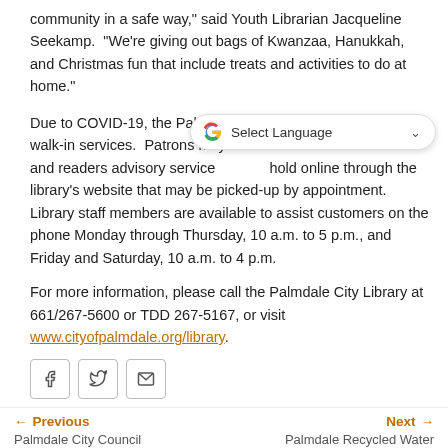community in a safe way," said Youth Librarian Jacqueline Seekamp. "We're giving out bags of Kwanzaa, Hanukkah, and Christmas fun that include treats and activities to do at home."
Due to COVID-19, the Palmdale City Library is not open for walk-in services. Patrons may call for reference and readers advisory services, place hold online through the library's website that may be picked-up by appointment. Library staff members are available to assist customers on the phone Monday through Thursday, 10 a.m. to 5 p.m., and Friday and Saturday, 10 a.m. to 4 p.m.
For more information, please call the Palmdale City Library at 661/267-5600 or TDD 267-5167, or visit www.cityofpalmdale.org/library.
[Figure (other): Google Translate Select Language widget overlay]
[Figure (other): Social share buttons: Facebook, Twitter, Email]
← Previous
Palmdale City Council Meeting Closed to
Next →
Palmdale Recycled Water Authority Accepting